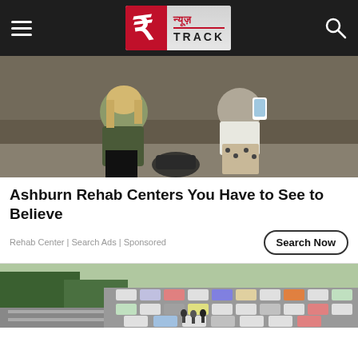[Figure (logo): News Track logo - red icon with white T and Hindi text न्यूज़ TRACK on silver background]
[Figure (photo): Two young women sitting against a graffiti wall, one in green jacket, one holding a phone in patterned pants]
Ashburn Rehab Centers You Have to See to Believe
Rehab Center | Search Ads | Sponsored
[Figure (photo): Aerial view of a parking lot full of cars next to a green railway line]